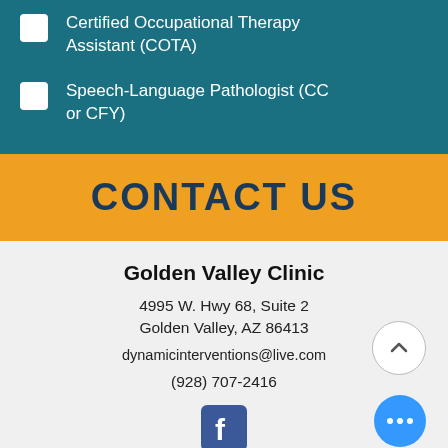Certified Occupational Therapy Assistant (COTA)
Speech-Language Pathologist (CC or CFY)
CONTACT US
Golden Valley Clinic
4995 W. Hwy 68, Suite 2
Golden Valley, AZ 86413
dynamicinterventions@live.com
(928) 707-2416